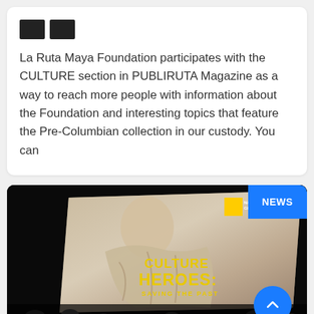La Ruta Maya Foundation participates with the CULTURE section in PUBLIRUTA Magazine as a way to reach more people with information about the Foundation and interesting topics that feature the Pre-Columbian collection in our custody. You can
[Figure (photo): A projection screen showing 'CULTURE HEROES: SAVING THE PAST' with a National Geographic logo and a classical statue image, with an audience silhouetted in the foreground. A blue NEWS badge appears in the top right corner, and a blue circular scroll-to-top button in the bottom right.]